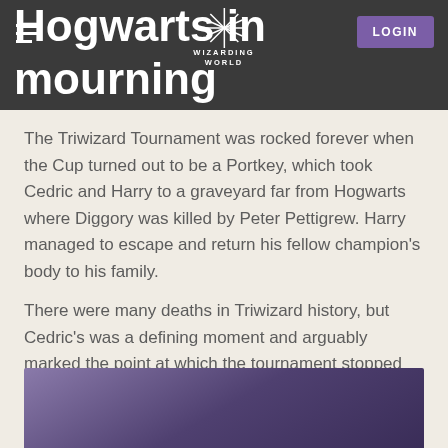Hogwarts in mourning
The Triwizard Tournament was rocked forever when the Cup turned out to be a Portkey, which took Cedric and Harry to a graveyard far from Hogwarts where Diggory was killed by Peter Pettigrew. Harry managed to escape and return his fellow champion's body to his family.
There were many deaths in Triwizard history, but Cedric's was a defining moment and arguably marked the point at which the tournament stopped being a contest and became a war.
[Figure (photo): Dark purple/violet background image, partially visible at bottom of page]